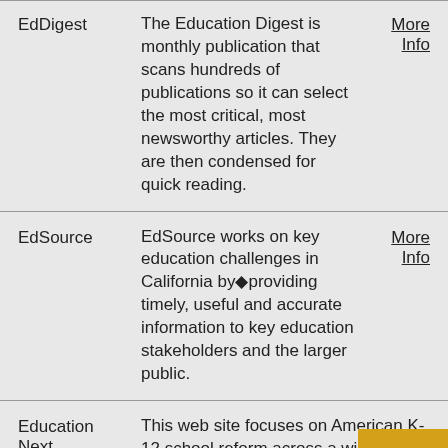| Name | Description | Link |
| --- | --- | --- |
| EdDigest | The Education Digest is monthly publication that scans hundreds of publications so it can select the most critical, most newsworthy articles. They are then condensed for quick reading. | More Info |
| EdSource | EdSource works on key education challenges in California by providing timely, useful and accurate information to key education stakeholders and the larger public. | More Info |
| Education Next | This web site focuses on American K-12 school reform across a wide range of issues and topics. | More Info |